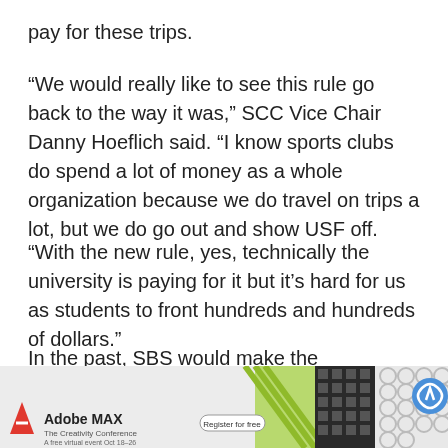pay for these trips.
“We would really like to see this rule go back to the way it was,” SCC Vice Chair Danny Hoeflich said. “I know sports clubs do spend a lot of money as a whole organization because we do travel on trips a lot, but we do go out and show USF off.
“With the new rule, yes, technically the university is paying for it but it’s hard for us as students to front hundreds and hundreds of dollars.”
In the past, SBS would make the reservations and thereby pay for airfare and hotels for student organizations prior to events that involved travel. Each organization only needed to send notice two weeks’ prior to the event.
[Figure (other): Adobe MAX advertisement banner at the bottom of the page with colorful patterns and a reCAPTCHA icon]